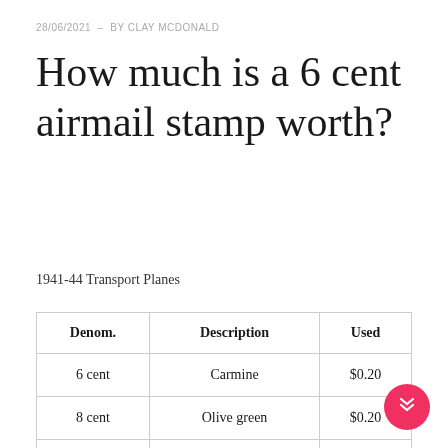28/06/2021 - BY CLAY MCDONALD
How much is a 6 cent airmail stamp worth?
1941-44 Transport Planes
| Denom. | Description | Used |
| --- | --- | --- |
| 6 cent | Carmine | $0.20 |
| 8 cent | Olive green | $0.20 |
| 10 cent | Violet | $0.20 |
| 15 cent | Brown carmine | $0.40 |